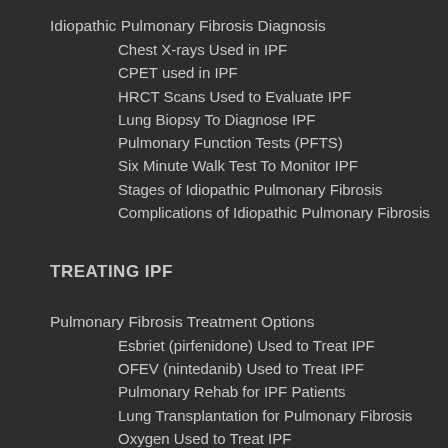Idiopathic Pulmonary Fibrosis Diagnosis
Chest X-rays Used in IPF
CPET used in IPF
HRCT Scans Used to Evaluate IPF
Lung Biopsy To Diagnose IPF
Pulmonary Function Tests (PFTS)
Six Minute Walk Test To Monitor IPF
Stages of Idiopathic Pulmonary Fibrosis
Complications of Idiopathic Pulmonary Fibrosis
TREATING IPF
Pulmonary Fibrosis Treatment Options
Esbriet (pirfenidone) Used to Treat IPF
OFEV (nintedanib) Used to Treat IPF
Pulmonary Rehab for IPF Patients
Lung Transplantation for Pulmonary Fibrosis
Oxygen Used to Treat IPF
Clinical Trials in Idiopathic Pulmonary Fibrosis